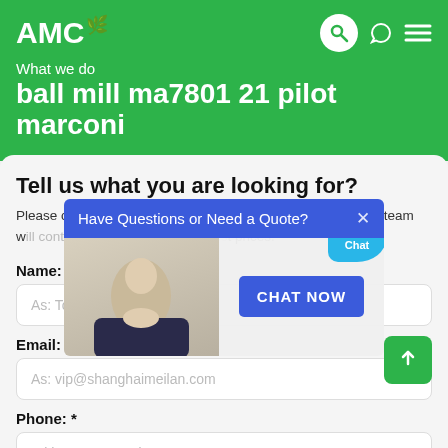AMC
What we do
ball mill ma7801 21 pilot marconi
Tell us what you are looking for?
Please complete and submit the following form and our sales team will contact you shortly with our best prices.
Have Questions or Need a Quote?
CHAT NOW
Live Chat
Name: *
As: Tom
Email: *
As: vip@shanghaimeilan.com
Phone: *
With Country Code